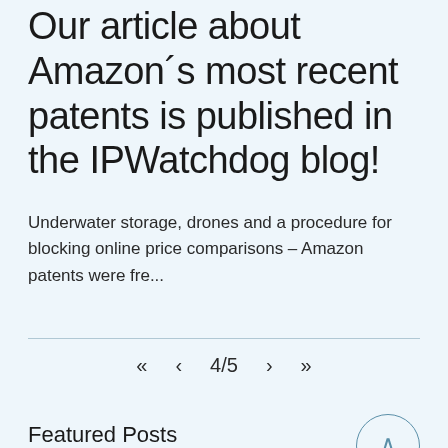Our article about Amazon's most recent patents is published in the IPWatchdog blog!
Underwater storage, drones and a procedure for blocking online price comparisons – Amazon patents were fre...
<< < 4/5 > >>
Featured Posts
Recent Posts
'Sustainability Innovation